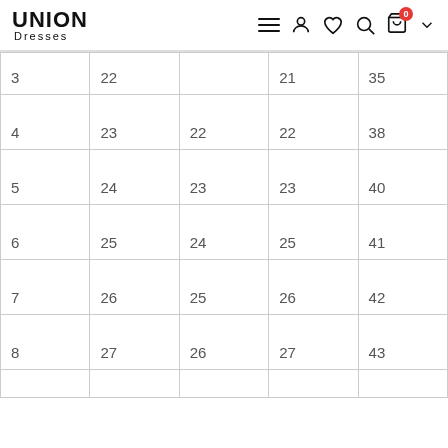UNION Dresses — navigation header with hamburger menu, user, wishlist, search, cart (0), and dropdown icons
| 3 | 22 |  | 21 | 35 |
| 4 | 23 | 22 | 22 | 38 |
| 5 | 24 | 23 | 23 | 40 |
| 6 | 25 | 24 | 25 | 41 |
| 7 | 26 | 25 | 26 | 42 |
| 8 | 27 | 26 | 27 | 43 |
|  |  |  |  |  |